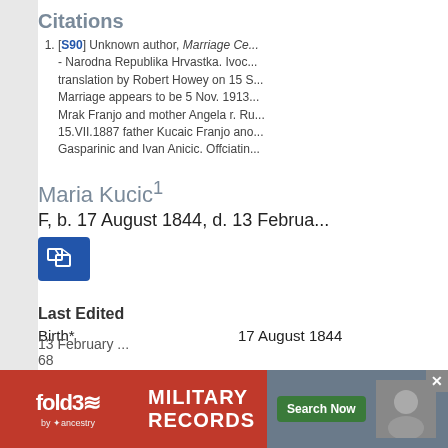Citations
[S90] Unknown author, Marriage Ce... - Narodna Republika Hrvastka. Ivoc... translation by Robert Howey on 15 S... Marriage appears to be 5 Nov. 1913... Mrak Franjo and mother Angela r. Ru... 15.VII.1887 father Kucaic Franjo ano... Gasparinic and Ivan Anicic. Offciatin...
Maria Kucic1
F, b. 17 August 1844, d. 13 Februa...
Last Edited
Birth*	17 August 1844
[Figure (other): Fold3 Military Records advertisement banner with Search Now button]
13 February ..68